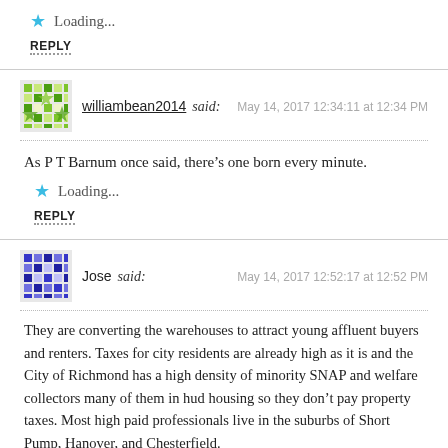Loading...
REPLY
williambean2014 said:  May 14, 2017 12:34:11 at 12:34 PM
As P T Barnum once said, there’s one born every minute.
Loading...
REPLY
Jose said:  May 14, 2017 12:52:17 at 12:52 PM
They are converting the warehouses to attract young affluent buyers and renters. Taxes for city residents are already high as it is and the City of Richmond has a high density of minority SNAP and welfare collectors many of them in hud housing so they don’t pay property taxes. Most high paid professionals live in the suburbs of Short Pump, Hanover, and Chesterfield.